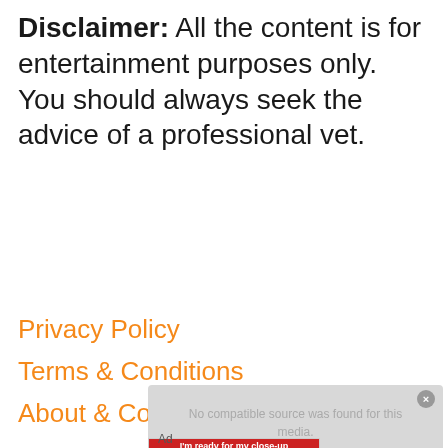Disclaimer: All the content is for entertainment purposes only. You should always seek the advice of a professional vet.
Privacy Policy
Terms & Conditions
About & Contact
[Figure (screenshot): Advertisement screenshot showing a BitLife - Life Simulator ad with 'No compatible source was found for this media.' overlay message and an X close button. Below shows a mobile game UI with 'I'm ready for my close-up' red banner, a user named Jessica Youngil, FAME blue bar, Photo Shoot option circled in red, and Talk Show option with BitLife branding.]
Ad